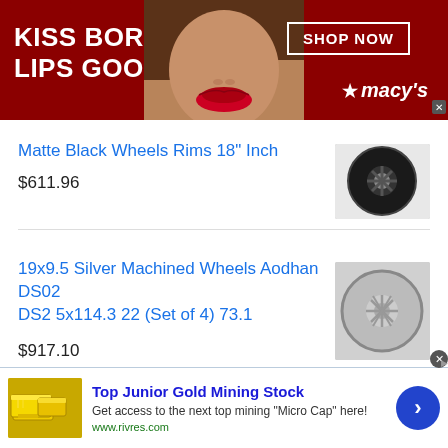[Figure (photo): Macy's advertisement banner with red background, woman's face with red lipstick, text 'KISS BORING LIPS GOODBYE', 'SHOP NOW' button, and Macy's star logo]
Matte Black Wheels Rims 18" Inch
$611.96
[Figure (photo): Matte black wheel rim product photo]
19x9.5 Silver Machined Wheels Aodhan DS02 DS2 5x114.3 22 (Set of 4) 73.1
$917.10
[Figure (photo): Silver machined wheel rim product photo]
[Figure (photo): Bottom advertisement for Top Junior Gold Mining Stock with gold bar image and blue arrow button]